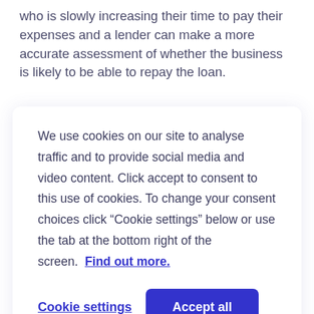who is slowly increasing their time to pay their expenses and a lender can make a more accurate assessment of whether the business is likely to be able to repay the loan.
We use cookies on our site to analyse traffic and to provide social media and video content. Click accept to consent to this use of cookies. To change your consent choices click “Cookie settings” below or use the tab at the bottom right of the screen. Find out more.
Cookie settings
Accept all
gained from just bank transactions. In a world of